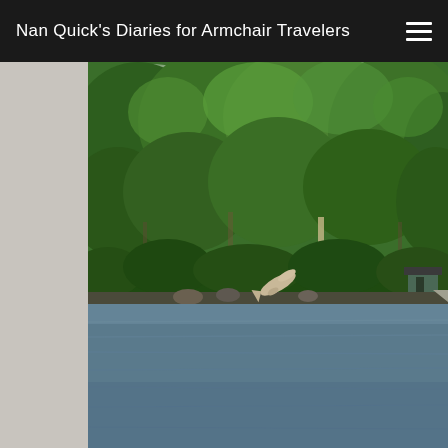Nan Quick's Diaries for Armchair Travelers
[Figure (photo): Outdoor scene showing a dense green tree-covered hillside/shoreline with a calm blue-grey water body in the foreground. A small dolphin or fish sculpture is visible near the waterline rocks. A small structure is visible on the far right among trees.]